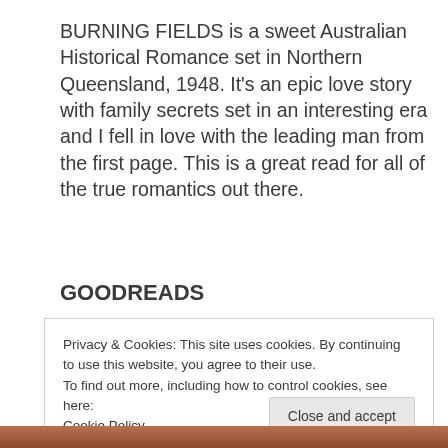BURNING FIELDS is a sweet Australian Historical Romance set in Northern Queensland, 1948. It's an epic love story with family secrets set in an interesting era and I fell in love with the leading man from the first page. This is a great read for all of the true romantics out there.
GOODREADS
Privacy & Cookies: This site uses cookies. By continuing to use this website, you agree to their use.
To find out more, including how to control cookies, see here:
Cookie Policy

Close and accept